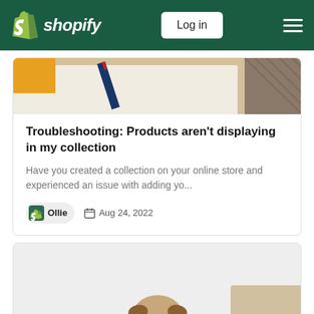Shopify — Log in
[Figure (photo): Top portion of a blog article card showing a close-up photo of stationery items including a pen and notebook on a white surface with a patterned textile in the corner.]
Troubleshooting: Products aren't displaying in my collection
Have you created a collection on your online store and experienced an issue with adding yo...
By Ollie · Aug 24, 2022
[Figure (photo): Bottom portion of the page showing the top of a second blog article card with a light gray background and a pug dog visible at the bottom edge.]